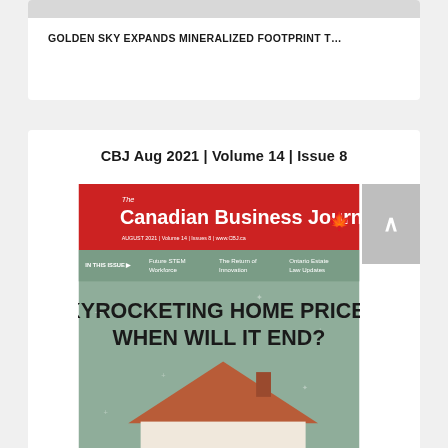GOLDEN SKY EXPANDS MINERALIZED FOOTPRINT T…
CBJ Aug 2021 | Volume 14 | Issue 8
[Figure (illustration): Cover of The Canadian Business Journal, August 2021, Volume 14, Issue 8. Red header banner with white text 'The Canadian Business Journal' and a maple leaf logo. Subtitle bar reads 'IN THIS ISSUE: Future STEM Workforce | The Return of Innovation | Ontario Estate Law Updates'. Main cover headline on sage green background: 'SKYROCKETING HOME PRICES: WHEN WILL IT END?' with an illustrated house roof visible at the bottom.]